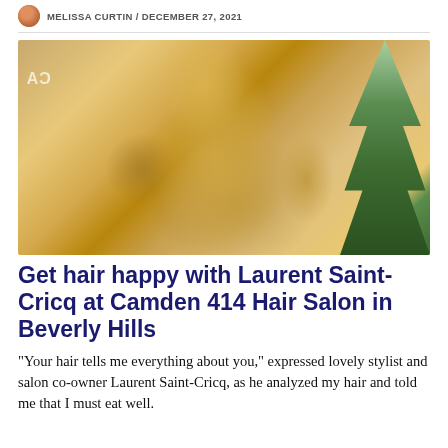MELISSA CURTIN / DECEMBER 27, 2021
[Figure (photo): Back view of a woman with long, voluminous, wavy blonde hair in a salon setting, with a Christmas tree visible on the right side.]
Get hair happy with Laurent Saint-Cricq at Camden 414 Hair Salon in Beverly Hills
“Your hair tells me everything about you,” expressed lovely stylist and salon co-owner Laurent Saint-Cricq, as he analyzed my hair and told me that I must eat well.